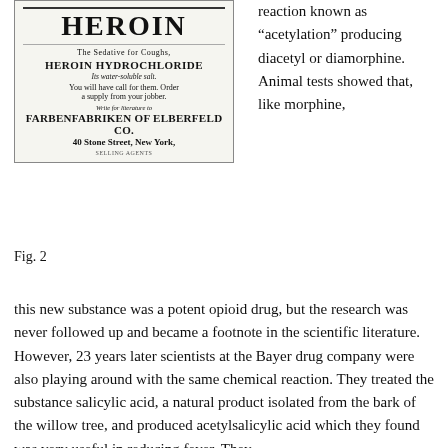[Figure (photo): Historical advertisement for Heroin (Bayer) showing product name in large bold letters, subtitle 'The Sedative for Coughs', HEROIN HYDROCHLORIDE, ordering instructions, and company name FARBENFABRIKEN OF ELBERFELD CO., 40 Stone Street, New York.]
Fig. 2
reaction known as “acetylation” producing diacetyl or diamorphine. Animal tests showed that, like morphine, this new substance was a potent opioid drug, but the research was never followed up and became a footnote in the scientific literature. However, 23 years later scientists at the Bayer drug company were also playing around with the same chemical reaction. They treated the substance salicylic acid, a natural product isolated from the bark of the willow tree, and produced acetylsalicylic acid which they found was very useful in reducing fever. They